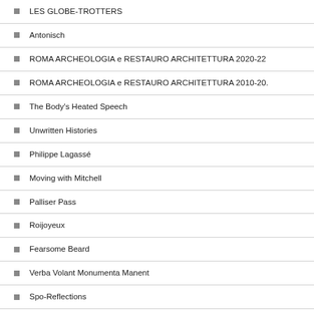LES GLOBE-TROTTERS
Antonisch
ROMA ARCHEOLOGIA e RESTAURO ARCHITETTURA 2020-22
ROMA ARCHEOLOGIA e RESTAURO ARCHITETTURA 2010-20.
The Body's Heated Speech
Unwritten Histories
Philippe Lagassé
Moving with Mitchell
Palliser Pass
Roijoyeux
Fearsome Beard
Verba Volant Monumenta Manent
Spo-Reflections
KREUZBERGED - BERLIN COMPANION
My Secret Journey